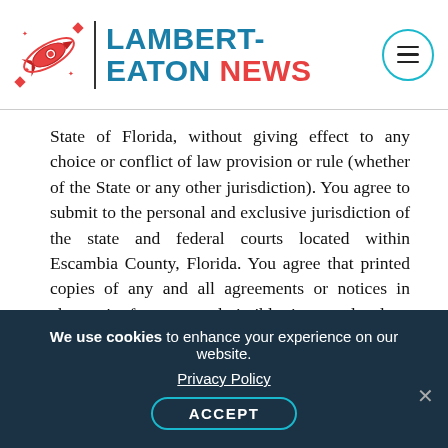[Figure (logo): Lambert-Eaton News logo with rocket/compass icon, teal and red text, and hamburger menu circle]
State of Florida, without giving effect to any choice or conflict of law provision or rule (whether of the State or any other jurisdiction). You agree to submit to the personal and exclusive jurisdiction of the state and federal courts located within Escambia County, Florida. You agree that printed copies of any and all agreements or notices in electronic form are admissible in any legal or regulatory proceedings
We use cookies to enhance your experience on our website. Privacy Policy ACCEPT